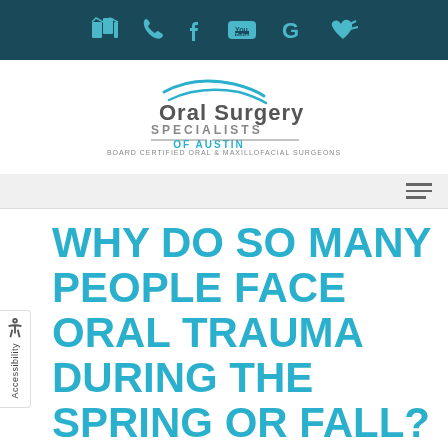Navigation bar with icons: map, phone, facebook, youtube, google, heart
[Figure (logo): Oral Surgery Specialists of Austin logo with teal swoosh and text: ORAL SURGERY SPECIALISTS OF AUSTIN - BOARD CERTIFIED ORAL & MAXILLOFACIAL SURGEONS]
WHY DO SO MANY PEOPLE FACE ORAL TRAUMA DURING THE SPRING OR FALL?
Posted on 9/7/2020 by Office